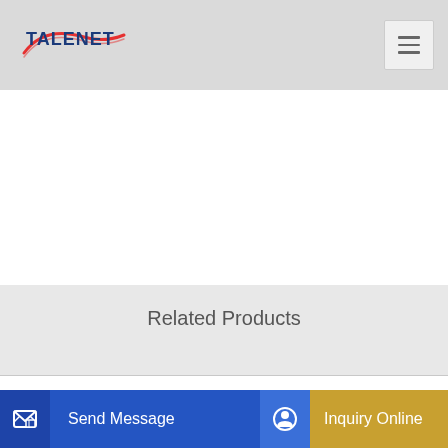TALENET
Related Products
HZS50 Full Automated Concrete Mixing Plant With 220V 440V
hzs180 portable concrete batch plant for sale in marikina
...te pu...
Send Message
Inquiry Online